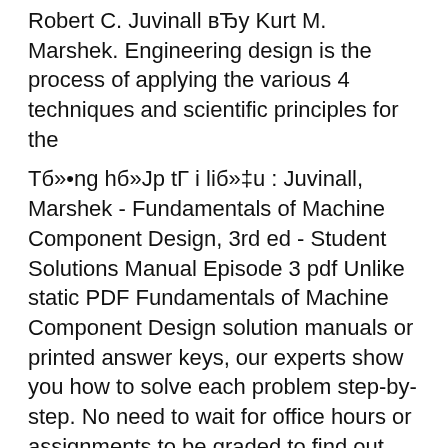Machine Component Design 5th Edition Robert C. Juvinall вЂу Kurt M. Marshek. Engineering design is the process of applying the various 4 techniques and scientific principles for the
Тб»•ng hб»Јp tГ i liб»‡u : Juvinall, Marshek - Fundamentals of Machine Component Design, 3rd ed - Student Solutions Manual Episode 3 pdf Unlike static PDF Fundamentals of Machine Component Design solution manuals or printed answer keys, our experts show you how to solve each problem step-by-step. No need to wait for office hours or assignments to be graded to find out where you took a wrong turn. You can check your reasoning as you tackle a problem using our interactive solutions viewer.